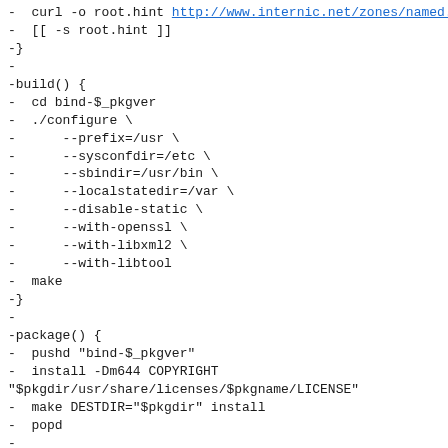- curl -o root.hint http://www.internic.net/zones/named.root
-  [[ -s root.hint ]]
-}
-
-build() {
-  cd bind-$_pkgver
-  ./configure \
-      --prefix=/usr \
-      --sysconfdir=/etc \
-      --sbindir=/usr/bin \
-      --localstatedir=/var \
-      --disable-static \
-      --with-openssl \
-      --with-libxml2 \
-      --with-libtool
-  make
-}
-
-package() {
-  pushd "bind-$_pkgver"
-  install -Dm644 COPYRIGHT "$pkgdir/usr/share/licenses/$pkgname/LICENSE"
-  make DESTDIR="$pkgdir" install
-  popd
-
-  install -D -m644 tmpfiles.conf "$pkgdir/usr/lib/tmpfiles.d/$pkgname.conf"
-  install -D -m644 sysusers.conf "$pkgdir/usr/lib/sysusers.d/$pkgname.conf"